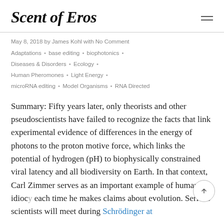Scent of Eros
May 8, 2018 by James Kohl with No Comment
Adaptations • base editing • biophotonics • Diseases & Disorders • Ecology • Human Pheromones • Light Energy • microRNA editing • Model Organisms • RNA Directed
Summary: Fifty years later, only theorists and other pseudoscientists have failed to recognize the facts that link experimental evidence of differences in the energy of photons to the proton motive force, which links the potential of hydrogen (pH) to biophysically constrained viral latency and all biodiversity on Earth. In that context, Carl Zimmer serves as an important example of human idioc… each time he makes claims about evolution. Serious scientists will meet during Schrödinger at